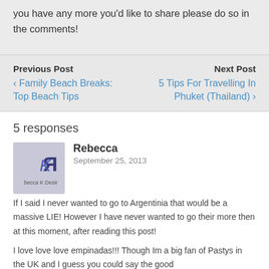you have any more you'd like to share please do so in the comments!
Previous Post
‹ Family Beach Breaks: Top Beach Tips
Next Post
5 Tips For Travelling In Phuket (Thailand) ›
5 responses
Rebecca
September 25, 2013
If I said I never wanted to go to Argentinia that would be a massive LIE! However I have never wanted to go their more then at this moment, after reading this post!
I love love love empinadas!!! Though Im a big fan of Pastys in the UK and I guess you could say the good